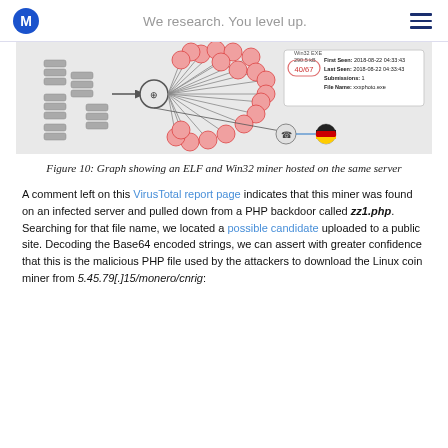We research. You level up.
[Figure (network-graph): Graph showing an ELF and Win32 miner hosted on the same server. Node network diagram with database-style nodes on the left connected to a central node, which fans out to many small red/pink icon nodes representing infected files or hosts. A panel on the right shows metadata: First Seen: 2018-08-22 04:33:43, Last Seen: 2018-08-22 04:33:43, Submissions: 1, File Name: xxxphoto.exe. Score shown as 40/67. Below the central cluster is a phone icon connected by a blue line to a German flag icon.]
Figure 10: Graph showing an ELF and Win32 miner hosted on the same server
A comment left on this VirusTotal report page indicates that this miner was found on an infected server and pulled down from a PHP backdoor called zz1.php. Searching for that file name, we located a possible candidate uploaded to a public site. Decoding the Base64 encoded strings, we can assert with greater confidence that this is the malicious PHP file used by the attackers to download the Linux coin miner from 5.45.79[.]15/monero/cnrig: